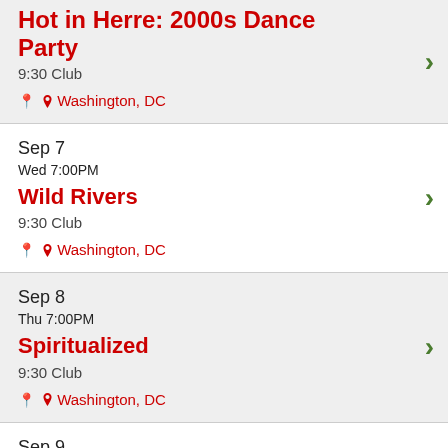Hot in Herre: 2000s Dance Party
9:30 Club
Washington, DC
Sep 7
Wed 7:00PM
Wild Rivers
9:30 Club
Washington, DC
Sep 8
Thu 7:00PM
Spiritualized
9:30 Club
Washington, DC
Sep 9
Fri 6:00PM